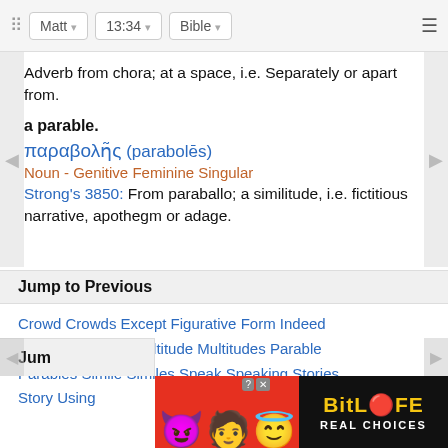Matt  13:34  Bible
Adverb from chora; at a space, i.e. Separately or apart from.
a parable.
παραβολῆς (parabolēs)
Noun - Genitive Feminine Singular
Strong's 3850: From paraballo; a similitude, i.e. fictitious narrative, apothegm or adage.
Jump to Previous
Crowd Crowds Except Figurative Form Indeed Jesus Language Multitude Multitudes Parable Parables Simile Similes Speak Speaking Stories Story Using
[Figure (screenshot): BitLife advertisement banner with emoji characters and 'REAL CHOICES' text]